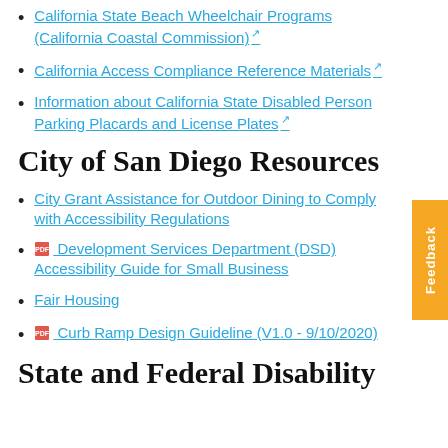California State Beach Wheelchair Programs (California Coastal Commission) [external link]
California Access Compliance Reference Materials [external link]
Information about California State Disabled Person Parking Placards and License Plates [external link]
City of San Diego Resources
City Grant Assistance for Outdoor Dining to Comply with Accessibility Regulations
[PDF] Development Services Department (DSD) Accessibility Guide for Small Business
Fair Housing
[PDF] Curb Ramp Design Guideline (V1.0 - 9/10/2020)
State and Federal Disability